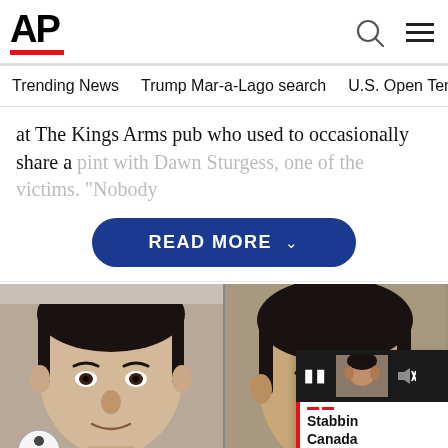[Figure (logo): AP (Associated Press) logo with red underline bar]
Trending News   Trump Mar-a-Lago search   U.S. Open Tennis
at The Kings Arms pub who used to occasionally share a pint with Dawn Sturgess, one of the victims. "Nobody
READ MORE
[Figure (photo): Two mugshot photos side by side of two men with dark hair. A small overlay in the corner shows a third photo of a man with a breaking news caption reading: Stabbing in Canada wound [text cut off]]